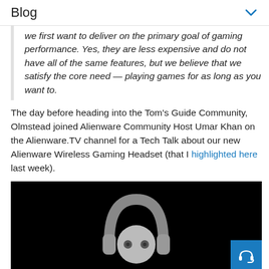Blog
we first want to deliver on the primary goal of gaming performance. Yes, they are less expensive and do not have all of the same features, but we believe that we satisfy the core need — playing games for as long as you want to.
The day before heading into the Tom's Guide Community, Olmstead joined Alienware Community Host Umar Khan on the Alienware.TV channel for a Tech Talk about our new Alienware Wireless Gaming Headset (that I highlighted here last week).
[Figure (screenshot): Black video frame showing a headset robot graphic and a blue support button in the bottom-right corner]